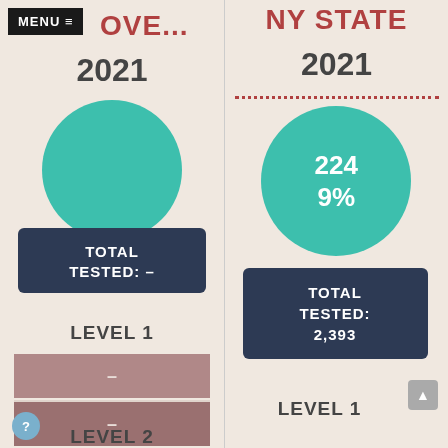MENU ≡
...OVE...
2021
[Figure (other): Large teal circle (partially cropped at top), left panel]
TOTAL TESTED: –
LEVEL 1
[Figure (other): Two stacked pinkish-brown bars with dash marks, left panel]
LEVEL 2
NY STATE
2021
[Figure (other): Teal circle with 224 and 9% text, right panel]
TOTAL TESTED: 2,393
LEVEL 1